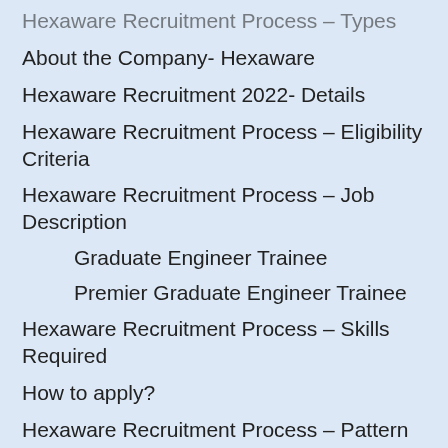Hexaware Recruitment Process – Types
About the Company- Hexaware
Hexaware Recruitment 2022- Details
Hexaware Recruitment Process – Eligibility Criteria
Hexaware Recruitment Process – Job Description
Graduate Engineer Trainee
Premier Graduate Engineer Trainee
Hexaware Recruitment Process – Skills Required
How to apply?
Hexaware Recruitment Process – Pattern
Hexaware Placement Papers, Test Pattern, Syllabus
Hexaware Placement Paper Syllabus
Hexaware Interview Questions – Technical